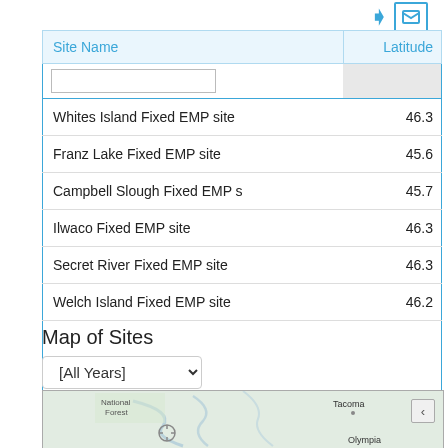| Site Name | Latitude |
| --- | --- |
| Whites Island Fixed EMP site | 46.3 |
| Franz Lake Fixed EMP site | 45.6 |
| Campbell Slough Fixed EMP s | 45.7 |
| Ilwaco Fixed EMP site | 46.3 |
| Secret River Fixed EMP site | 46.3 |
| Welch Island Fixed EMP site | 46.2 |
Map of Sites
[Figure (map): Map showing EMP monitoring sites in the Pacific Northwest region including Tacoma and Olympia areas. Includes an All Years dropdown filter and a collapse button.]